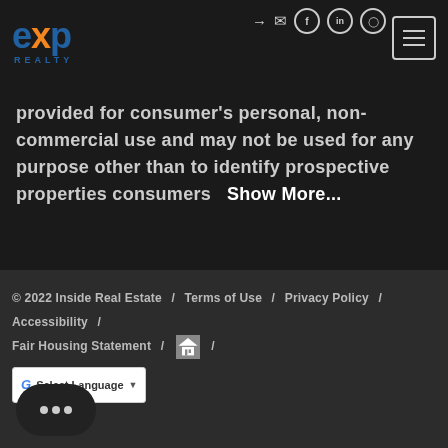[Figure (logo): eXp Realty logo with blue text and orange X]
provided for consumer's personal, non-commercial use and may not be used for any purpose other than to identify prospective properties consumers   Show More...
© 2022 Inside Real Estate / Terms of Use / Privacy Policy / Accessibility / Fair Housing Statement / [Equal Housing Opportunity logo] / Select Language